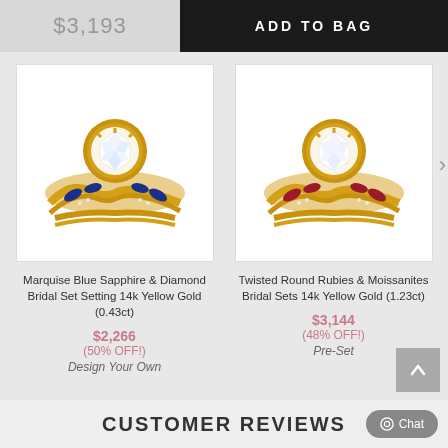$3,193
ADD TO BAG
[Figure (photo): Marquise Blue Sapphire & Diamond Bridal Set ring on white background, yellow gold with blue sapphire marquise stones and diamond accents]
Marquise Blue Sapphire & Diamond Bridal Set Setting 14k Yellow Gold (0.43ct)
$2,266
(50% OFF!)
Design Your Own
[Figure (photo): Twisted Round Rubies & Moissanites Bridal Sets ring on white background, yellow gold with red ruby marquise stones and moissanite accents]
Twisted Round Rubies & Moissanites Bridal Sets 14k Yellow Gold (1.23ct)
$3,144
(48% OFF!)
Pre-Set
CUSTOMER REVIEWS